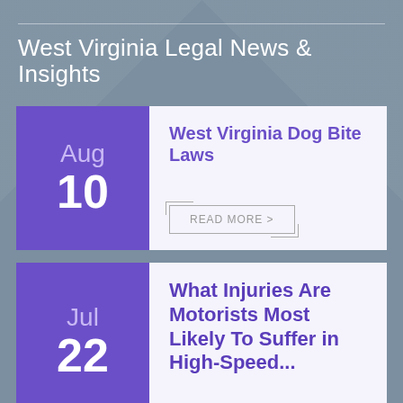West Virginia Legal News & Insights
Aug 10 — West Virginia Dog Bite Laws
READ MORE >
Jul 22 — What Injuries Are Motorists Most Likely To Suffer in High-Speed...